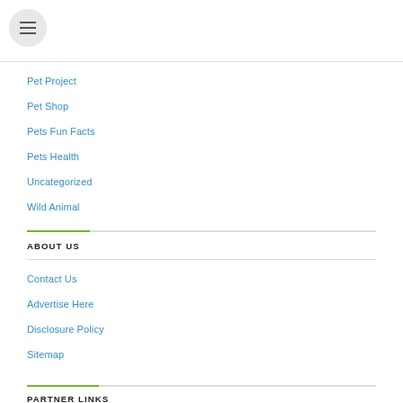Pet Project
Pet Shop
Pets Fun Facts
Pets Health
Uncategorized
Wild Animal
ABOUT US
Contact Us
Advertise Here
Disclosure Policy
Sitemap
PARTNER LINKS